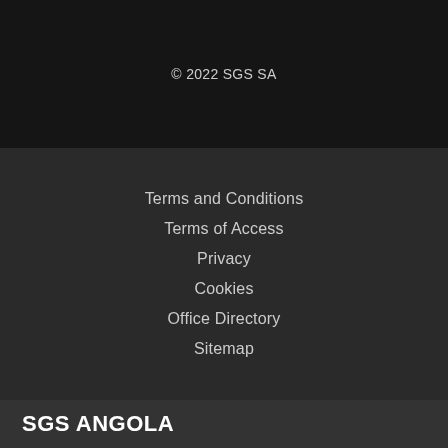© 2022 SGS SA
Terms and Conditions
Terms of Access
Privacy
Cookies
Office Directory
Sitemap
SGS ANGOLA